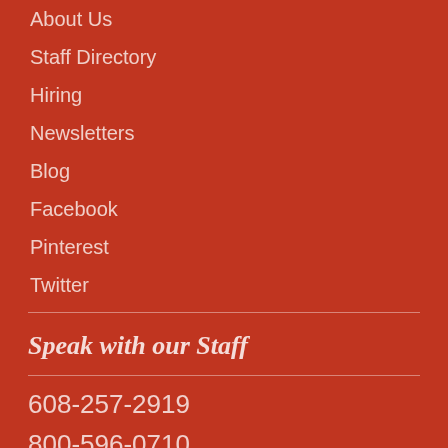About Us
Staff Directory
Hiring
Newsletters
Blog
Facebook
Pinterest
Twitter
Speak with our Staff
608-257-2919
800-596-0710